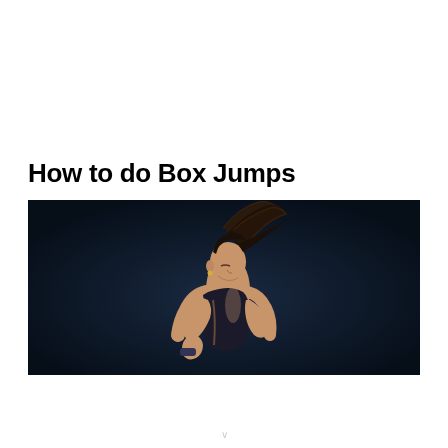How to do Box Jumps
[Figure (photo): A woman athlete mid-jump against a dark navy background, with her ponytail flying upward and arms bent in front of her body, wearing athletic wear]